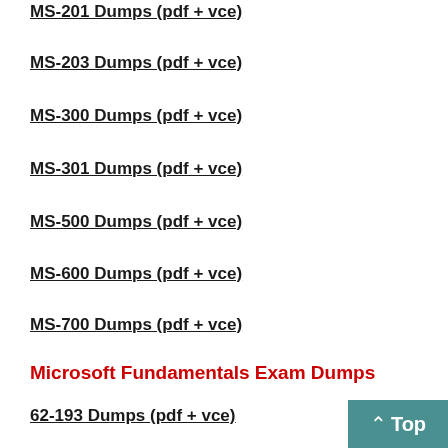MS-201 Dumps (pdf + vce)
MS-203 Dumps (pdf + vce)
MS-300 Dumps (pdf + vce)
MS-301 Dumps (pdf + vce)
MS-500 Dumps (pdf + vce)
MS-600 Dumps (pdf + vce)
MS-700 Dumps (pdf + vce)
Microsoft Fundamentals Exam Dumps
62-193 Dumps (pdf + vce)